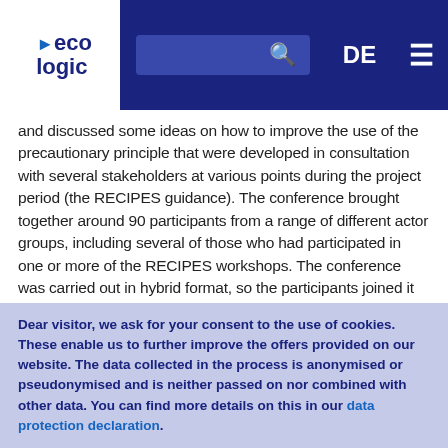eco logic | DE | search | menu
and discussed some ideas on how to improve the use of the precautionary principle that were developed in consultation with several stakeholders at various points during the project period (the RECIPES guidance). The conference brought together around 90 participants from a range of different actor groups, including several of those who had participated in one or more of the RECIPES workshops. The conference was carried out in hybrid format, so the participants joined it on-site or online. Check out the presentations held at the RECIPES conference.
Dear visitor, we ask for your consent to the use of cookies. These enable us to further improve the offers provided on our website. The data collected in the process is anonymised or pseudonymised and is neither passed on nor combined with other data. You can find more details on this in our data protection declaration.